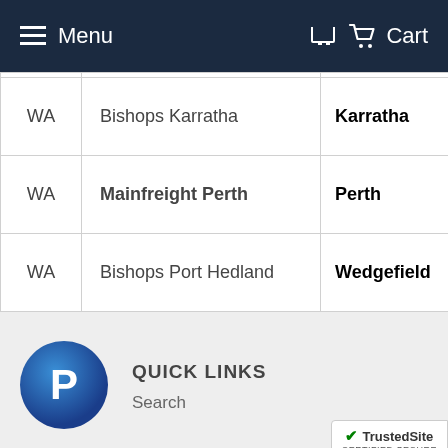Menu  Cart
| State | Name | City | Number |
| --- | --- | --- | --- |
| WA | Bishops Karratha | Karratha | Lo… |
| WA | Mainfreight Perth | Perth | 11… |
| WA | Bishops Port Hedland | Wedgefield | 11… |
[Figure (logo): PayPal logo circle icon]
QUICK LINKS
Search
[Figure (logo): TrustedSite Certified Secure badge]